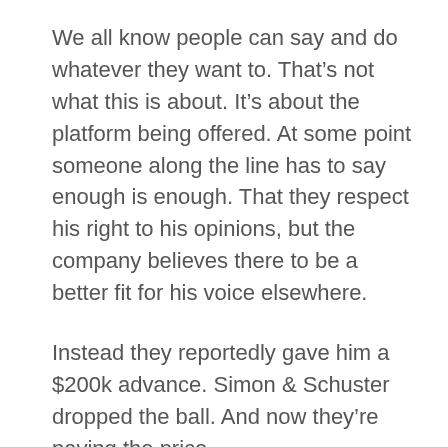We all know people can say and do whatever they want to. That’s not what this is about. It’s about the platform being offered. At some point someone along the line has to say enough is enough. That they respect his right to his opinions, but the company believes there to be a better fit for his voice elsewhere.
Instead they reportedly gave him a $200k advance. Simon & Schuster dropped the ball. And now they’re paying the price.
Stand up for what you believe in just like Roxane Gay and Milo Yiannopoulos. We all should. But the United States is no place for hate.